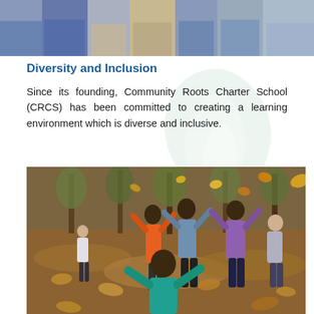[Figure (photo): Partial photo at top of page showing children standing in a row, cropped at waist level, wearing casual clothing including jeans and jackets.]
Diversity and Inclusion
Since its founding, Community Roots Charter School (CRCS) has been committed to creating a learning environment which is diverse and inclusive.
[Figure (photo): Photo of diverse group of children playing joyfully outdoors in autumn, throwing leaves in the air in a park with trees in the background.]